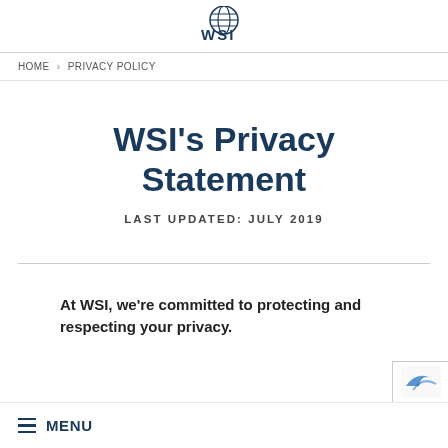WSI logo
HOME > PRIVACY POLICY
WSI's Privacy Statement
LAST UPDATED: JULY 2019
At WSI, we're committed to protecting and respecting your privacy.
≡ MENU